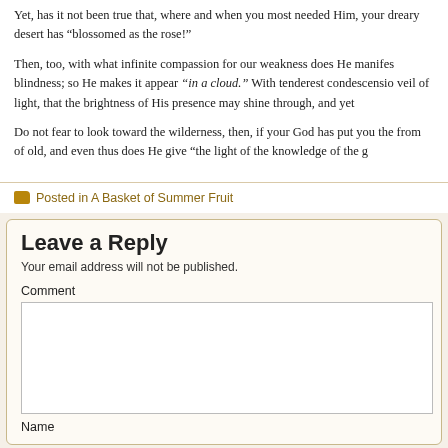Yet, has it not been true that, where and when you most needed Him, your dreary desert has “blossomed as the rose!”
Then, too, with what infinite compassion for our weakness does He manifest blindness; so He makes it appear “in a cloud.” With tenderest condescension veil of light, that the brightness of His presence may shine through, and yet
Do not fear to look toward the wilderness, then, if your God has put you there from of old, and even thus does He give “the light of the knowledge of the g
Posted in A Basket of Summer Fruit
Leave a Reply
Your email address will not be published.
Comment
Name